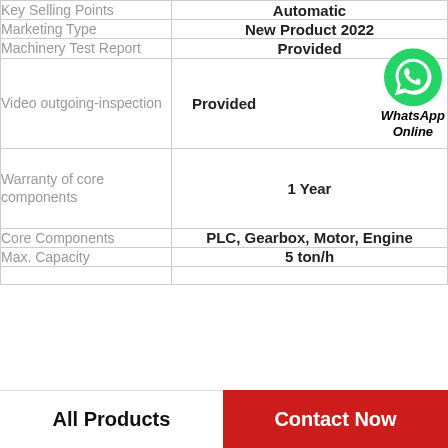| Property | Value |
| --- | --- |
| Key Selling Points | Automatic |
| Marketing Type | New Product 2022 |
| Machinery Test Report | Provided |
| Video outgoing-inspection | Provided |
| Warranty of core components | 1 Year |
| Core Components | PLC, Gearbox, Motor, Engine |
| Max. Capacity | 5 ton/h |
All Products
Contact Now